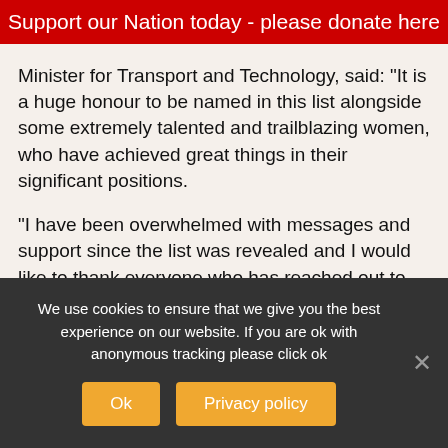Support our Nation today - please donate here
Minister for Transport and Technology, said: "It is a huge honour to be named in this list alongside some extremely talented and trailblazing women, who have achieved great things in their significant positions.
“I have been overwhelmed with messages and support since the list was revealed and I would like to thank everyone who has reached out to me.
“It is a huge privilege and I am truly honoured to have been included in such a prestigious list.
We use cookies to ensure that we give you the best experience on our website. If you are ok with anonymous tracking please click ok
Ok | Privacy policy